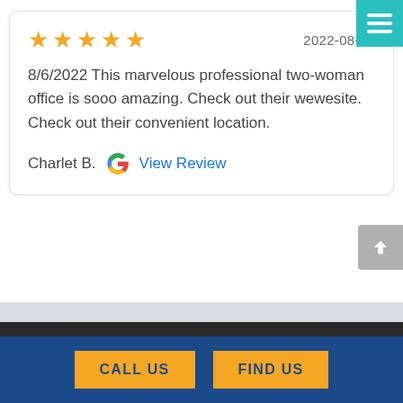[Figure (other): Teal hamburger menu button in top right corner with three white horizontal lines]
★★★★★  2022-08-06
8/6/2022 This marvelous professional two-woman office is sooo amazing. Check out their wewesite. Check out their convenient location.
Charlet B.  View Review
CALL US
FIND US